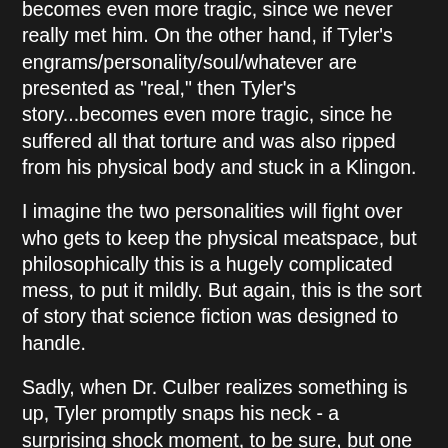becomes even more tragic, since we never really met him. On the other hand, if Tyler's engrams/personality/soul/whatever are presented as "real," then Tyler's story...becomes even more tragic, since he suffered all that torture and was also ripped from his physical body and stuck in a Klingon.
I imagine the two personalities will fight over who gets to keep the physical meatspace, but philosophically this is a hugely complicated mess, to put it mildly. But again, this is the sort of story that science fiction was designed to handle.
Sadly, when Dr. Culber realizes something is up, Tyler promptly snaps his neck - a surprising shock moment, to be sure, but one that brings to an abrupt end the notion of whether or not his relationship with Stamets can be sensitively handled in a satisfying way.
Or does it? I immediately thought of the "kill your gays" trope when Culber died, but according to actor Wilson Cruz and writer Aaroc Harberts, there's more to Culber's death than meets the eye, and Harberts and Cruz, both gay men themselves, were meant to ensure that this is actually the...